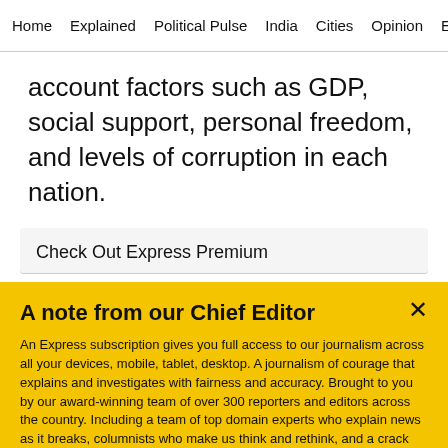Home  Explained  Political Pulse  India  Cities  Opinion  Entertainment
account factors such as GDP, social support, personal freedom, and levels of corruption in each nation.
Check Out Express Premium
A note from our Chief Editor
An Express subscription gives you full access to our journalism across all your devices, mobile, tablet, desktop. A journalism of courage that explains and investigates with fairness and accuracy. Brought to you by our award-winning team of over 300 reporters and editors across the country. Including a team of top domain experts who explain news as it breaks, columnists who make us think and rethink, and a crack investigative team, the only partner in India of the International Consortium of Investigative Journalists. Journalism
Buy Now →